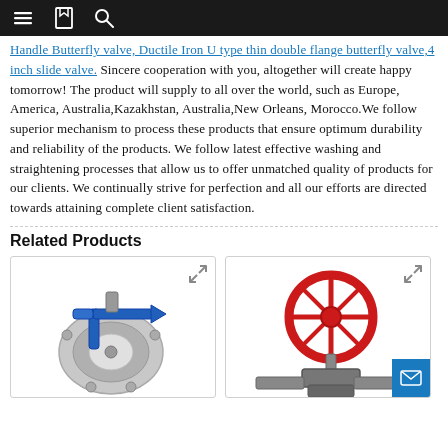Navigation bar with menu, bookmark, and search icons
Handle Butterfly valve, Ductile Iron U type thin double flange butterfly valve, 4 inch slide valve. Sincere cooperation with you, altogether will create happy tomorrow! The product will supply to all over the world, such as Europe, America, Australia,Kazakhstan, Australia,New Orleans, Morocco.We follow superior mechanism to process these products that ensure optimum durability and reliability of the products. We follow latest effective washing and straightening processes that allow us to offer unmatched quality of products for our clients. We continually strive for perfection and all our efforts are directed towards attaining complete client satisfaction.
Related Products
[Figure (photo): Butterfly valve with blue handle/lever mechanism, silver body]
[Figure (photo): Red wheel gate valve with mechanical assembly]